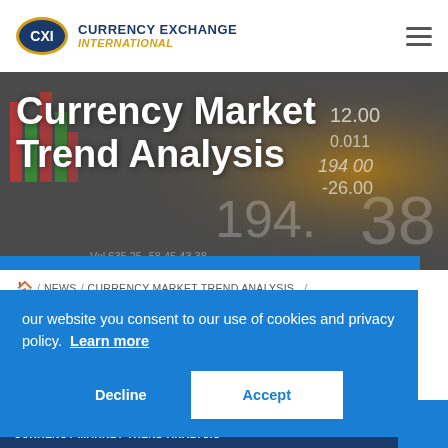Currency Exchange International
[Figure (photo): Hero banner with stock market ticker board background showing numbers like 12.00, 0.011, 194.00, -26.00, 38, with blue accent bar at bottom]
Currency Market Trend Analysis
🏠 / NEWS / CURRENCY MARKET TREND ANALYSIS / MARIO DRAGHI CAVES
our website you consent to our use of cookies and privacy policy. Learn more
Decline   Accept
CURRENCY MARKET TREND ANALYSIS